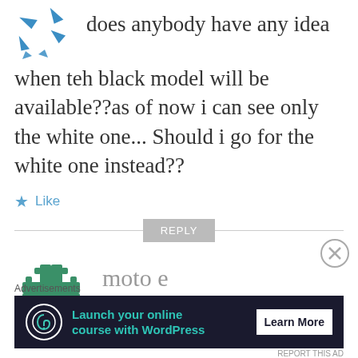[Figure (logo): Blue bird/arrow logo fragment at top left]
does anybody have any idea when teh black model will be available??as of now i can see only the white one... Should i go for the white one instead??
Like
REPLY
[Figure (logo): Green puzzle piece / hashtag shaped avatar for moto e commenter]
moto e
JUNE 11, 2014 AT 1:16 PM
Advertisements
[Figure (infographic): Advertisement banner: Launch your online course with WordPress — Learn More]